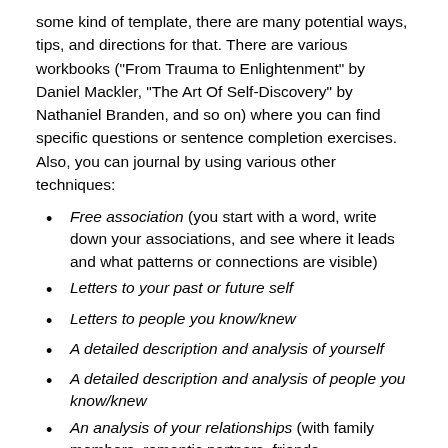some kind of template, there are many potential ways, tips, and directions for that. There are various workbooks ("From Trauma to Enlightenment" by Daniel Mackler, "The Art Of Self-Discovery" by Nathaniel Branden, and so on) where you can find specific questions or sentence completion exercises. Also, you can journal by using various other techniques:
Free association (you start with a word, write down your associations, and see where it leads and what patterns or connections are visible)
Letters to your past or future self
Letters to people you know/knew
A detailed description and analysis of yourself
A detailed description and analysis of people you know/knew
An analysis of your relationships (with family members, romantic partners, friends, acquaintances, co-workers, etc.)
Things you'd like to share with someone